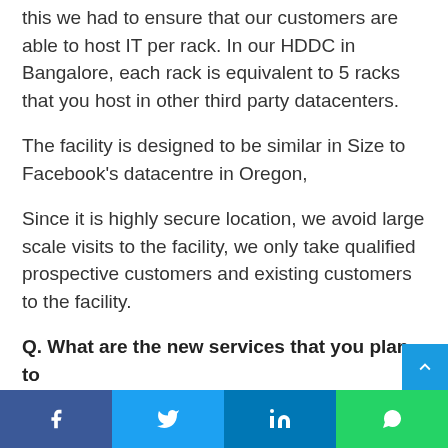this we had to ensure that our customers are able to host IT per rack. In our HDDC in Bangalore, each rack is equivalent to 5 racks that you host in other third party datacenters.
The facility is designed to be similar in Size to Facebook’s datacentre in Oregon,
Since it is highly secure location, we avoid large scale visits to the facility, we only take qualified prospective customers and existing customers to the facility.
Q. What are the new services that you plan to